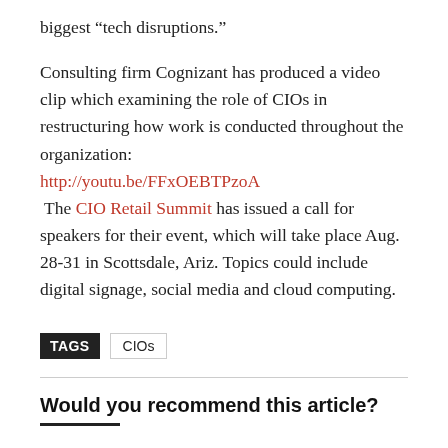biggest “tech disruptions.”
Consulting firm Cognizant has produced a video clip which examining the role of CIOs in restructuring how work is conducted throughout the organization: http://youtu.be/FFxOEBTPzoA The CIO Retail Summit has issued a call for speakers for their event, which will take place Aug. 28-31 in Scottsdale, Ariz. Topics could include digital signage, social media and cloud computing.
TAGS  CIOs
Would you recommend this article?